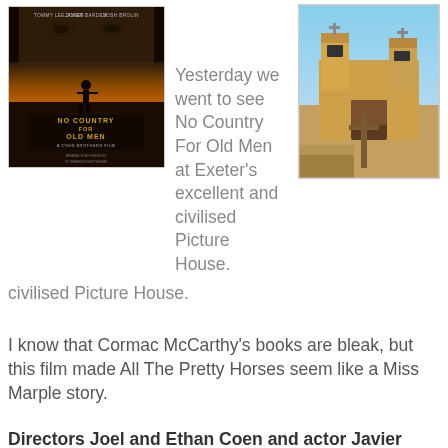[Figure (photo): Movie poster for 'No Country for Old Men' directed by Coen Brothers, dark background with silhouette of a man with a gun]
Yesterday we went to see No Country For Old Men at Exeter's excellent and civilised Picture House.
[Figure (photo): Photo of a small adobe/mud brick church building with crosses, blue sky background]
I know that Cormac McCarthy's books are bleak, but this film made All The Pretty Horses seem like a Miss Marple story.
Directors Joel and Ethan Coen and actor Javier Bardem, who plays the psychopathic killer Anton Chigurh, will no doubt be nominated for awards, but the mindless